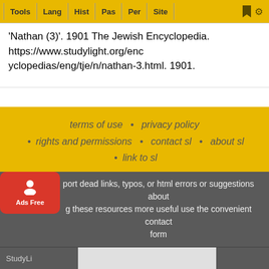Tools | Lang | Hist | Pas | Per | Site
'Nathan (3)'. 1901 The Jewish Encyclopedia. https://www.studylight.org/encyclopedias/eng/tje/n/nathan-3.html. 1901.
terms of use • privacy policy • rights and permissions • contact sl • about sl • link to sl
To report dead links, typos, or html errors or suggestions about making these resources more useful use the convenient contact form
StudyLight ... hnology